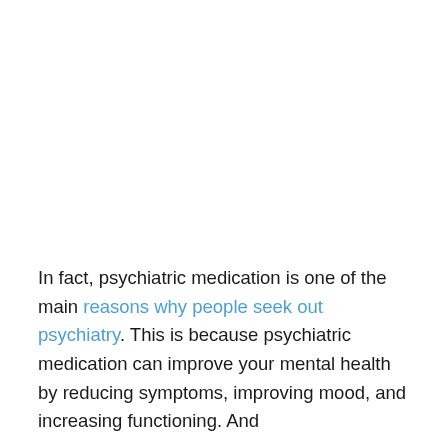In fact, psychiatric medication is one of the main reasons why people seek out psychiatry. This is because psychiatric medication can improve your mental health by reducing symptoms, improving mood, and increasing functioning. And